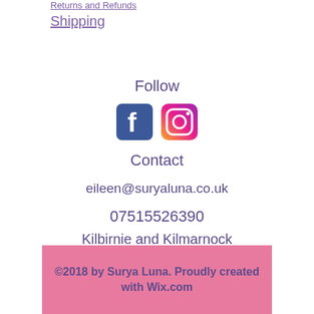Returns and Refunds
Shipping
Follow
[Figure (logo): Facebook and Instagram social media icons side by side]
Contact
eileen@suryaluna.co.uk
07515526390
Kilbirnie and Kilmarnock
Ayrshire
©2018 by Surya Luna. Proudly created with Wix.com